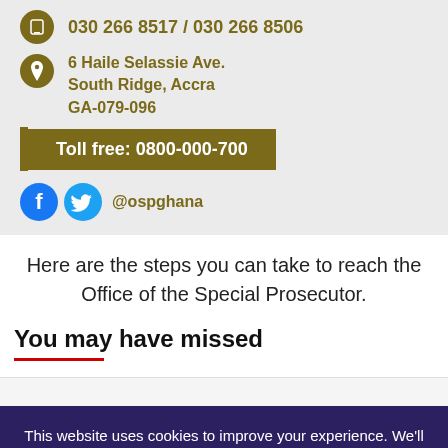[Figure (infographic): Contact information block for Office of Special Prosecutor Ghana showing phone numbers, address, toll-free number, and social media handles on a grey background with olive/gold color scheme]
Here are the steps you can take to reach the Office of the Special Prosecutor.
You may have missed
This website uses cookies to improve your experience. We'll assume you're ok with this, but you can opt-out if you wish.
Cookie settings  ACCEPT